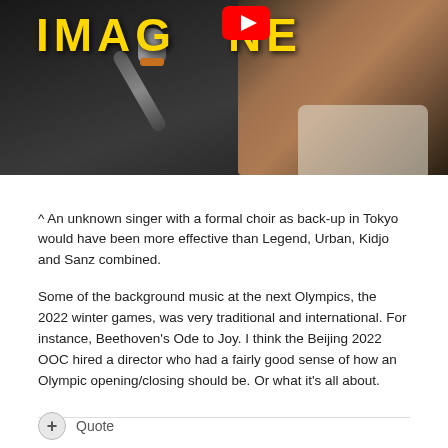[Figure (screenshot): Screenshot of a YouTube video thumbnail showing the word IMAGINE in large yellow bold text with a YouTube play button icon overlaid. A man singing into a microphone is visible in the image against a dark background.]
^ An unknown singer with a formal choir as back-up in Tokyo would have been more effective than Legend, Urban, Kidjo and Sanz combined.
Some of the background music at the next Olympics, the 2022 winter games, was very traditional and international. For instance, Beethoven's Ode to Joy. I think the Beijing 2022 OOC hired a director who had a fairly good sense of how an Olympic opening/closing should be. Or what it's all about.